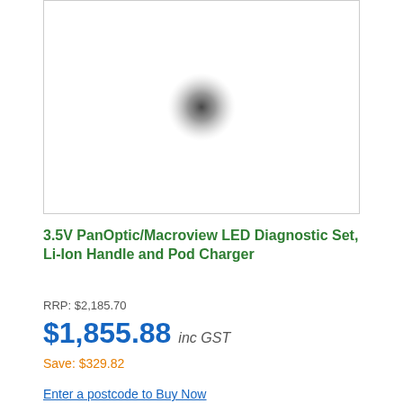[Figure (photo): Product image placeholder showing a blurred circular dark shape (likely a product icon or placeholder) on a white background within a bordered rectangle]
3.5V PanOptic/Macroview LED Diagnostic Set, Li-Ion Handle and Pod Charger
RRP: $2,185.70
$1,855.88  inc GST
Save: $329.82
Enter a postcode to Buy Now